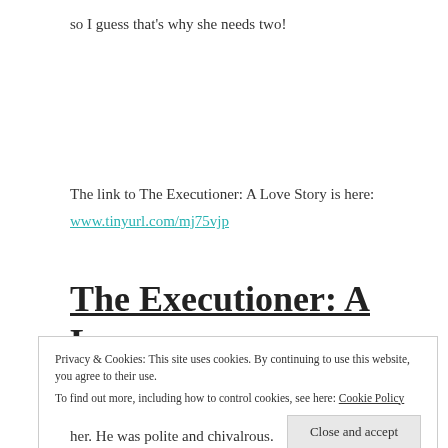so I guess that’s why she needs two!
The link to The Executioner: A Love Story is here:
www.tinyurl.com/mj75vjp
The Executioner: A Love
Privacy & Cookies: This site uses cookies. By continuing to use this website, you agree to their use.
To find out more, including how to control cookies, see here: Cookie Policy
Close and accept
her. He was polite and chivalrous.